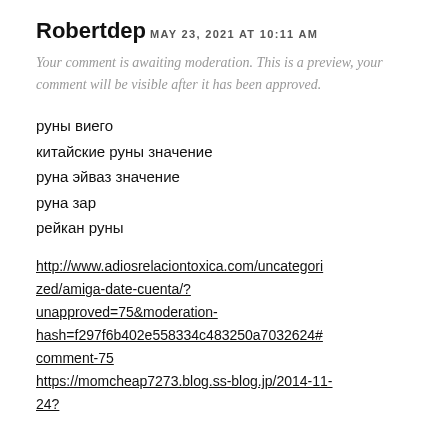Robertdep
MAY 23, 2021 AT 10:11 AM
Your comment is awaiting moderation. This is a preview, your comment will be visible after it has been approved.
руны виего
китайские руны значение
руна эйваз значение
руна зар
рейкан руны
http://www.adiosrelaciontoxica.com/uncategorized/amiga-date-cuenta/?unapproved=75&moderation-hash=f297f6b402e558334c483250a7032624#comment-75
https://momcheap7273.blog.ss-blog.jp/2014-11-24?